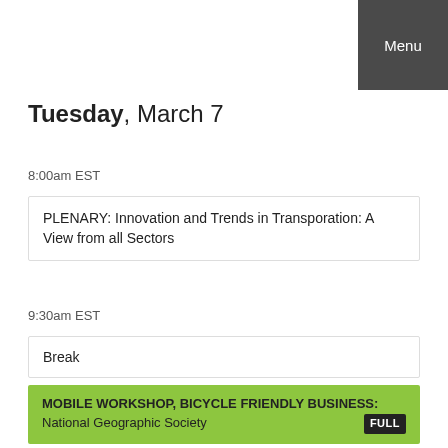Menu
Tuesday, March 7
8:00am EST
PLENARY: Innovation and Trends in Transporation: A View from all Sectors
9:30am EST
Break
MOBILE WORKSHOP, BICYCLE FRIENDLY BUSINESS: National Geographic Society FULL